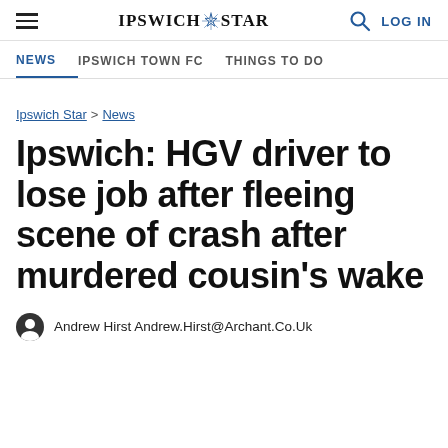Ipswich Star — NEWS | IPSWICH TOWN FC | THINGS TO DO
Ipswich Star > News
Ipswich: HGV driver to lose job after fleeing scene of crash after murdered cousin's wake
Andrew Hirst Andrew.Hirst@Archant.Co.Uk